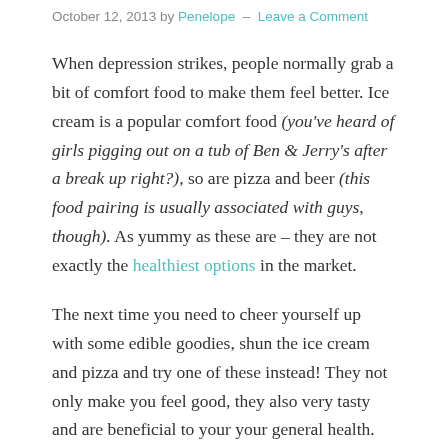October 12, 2013 by Penelope — Leave a Comment
When depression strikes, people normally grab a bit of comfort food to make them feel better. Ice cream is a popular comfort food (you've heard of girls pigging out on a tub of Ben & Jerry's after a break up right?), so are pizza and beer (this food pairing is usually associated with guys, though). As yummy as these are – they are not exactly the healthiest options in the market.
The next time you need to cheer yourself up with some edible goodies, shun the ice cream and pizza and try one of these instead! They not only make you feel good, they also very tasty and are beneficial to your your general health.
1. Dark Chocolate